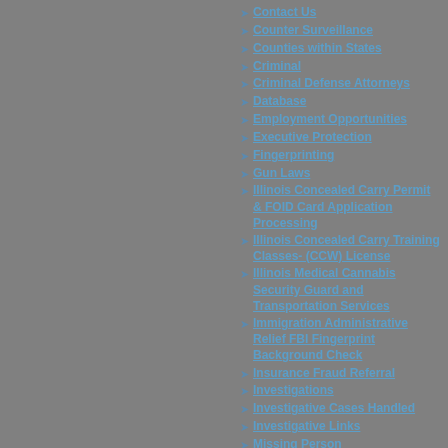Contact Us
Counter Surveillance
Counties within States
Criminal
Criminal Defense Attorneys
Database
Employment Opportunities
Executive Protection
Fingerprinting
Gun Laws
Illinois Concealed Carry Permit & FOID Card Application Processing
Illinois Concealed Carry Training Classes- (CCW) License
Illinois Medical Cannabis Security Guard and Transportation Services
Immigration Administrative Relief FBI Fingerprint Background Check
Insurance Fraud Referral
Investigations
Investigative Cases Handled
Investigative Links
Missing Person